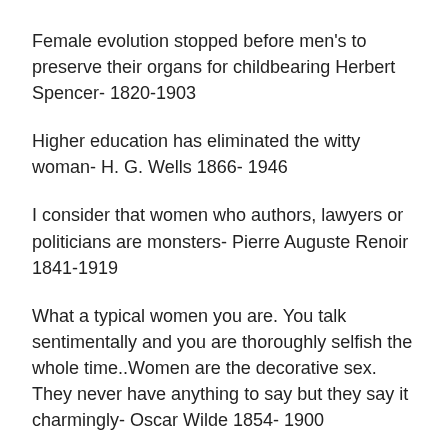Female evolution stopped before men's to preserve their organs for childbearing Herbert Spencer- 1820-1903
Higher education has eliminated the witty woman- H. G. Wells 1866- 1946
I consider that women who authors, lawyers or politicians are monsters- Pierre Auguste Renoir 1841-1919
What a typical women you are. You talk sentimentally and you are thoroughly selfish the whole time..Women are the decorative sex. They never have anything to say but they say it charmingly- Oscar Wilde 1854- 1900